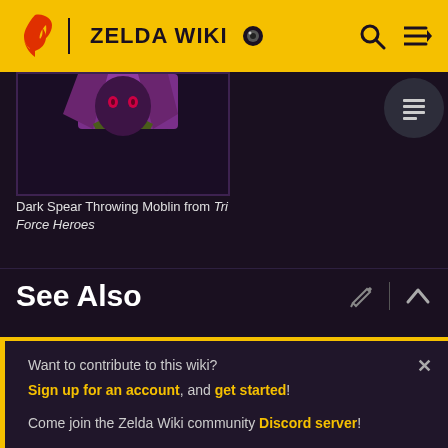ZELDA WIKI
[Figure (photo): Dark Spear Throwing Moblin character from Tri Force Heroes, showing a dark purple and green creature against a dark background]
Dark Spear Throwing Moblin from Tri Force Heroes
See Also
Moblin
Bow Moblin
Want to contribute to this wiki? Sign up for an account, and get started! Come join the Zelda Wiki community Discord server!